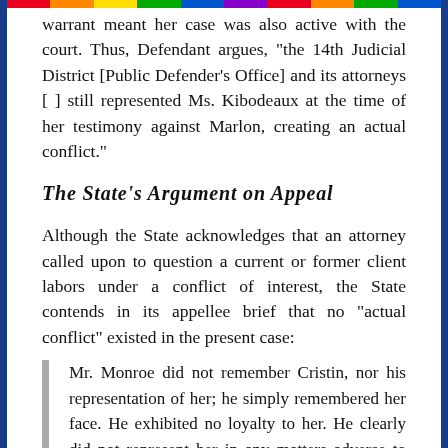warrant meant her case was also active with the court. Thus, Defendant argues, "the 14th Judicial District [Public Defender's Office] and its attorneys [ ] still represented Ms. Kibodeaux at the time of her testimony against Marlon, creating an actual conflict."
The State's Argument on Appeal
Although the State acknowledges that an attorney called upon to question a current or former client labors under a conflict of interest, the State contends in its appellee brief that no "actual conflict" existed in the present case:
Mr. Monroe did not remember Cristin, nor his representation of her; he simply remembered her face. He exhibited no loyalty to her. He clearly did not represent her in any matters adverse to this defendant.